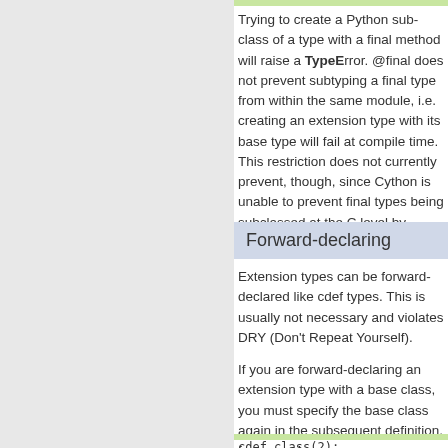Trying to create a Python subclass of a type with a final method will raise a TypeError. @final does not prevent subtyping a final type from within the same module, i.e. creating an extension type with its base type will fail at compile time. This restriction does not currently prevent, though, since Cython is unable to prevent final types being subclassed at the C level by foreign code.
Forward-declaring
Extension types can be forward-declared like cdef types. This is usually not necessary and violates DRY (Don't Repeat Yourself).
If you are forward-declaring a type with a base class, you must specify the base class again in the subsequent definition, for exa